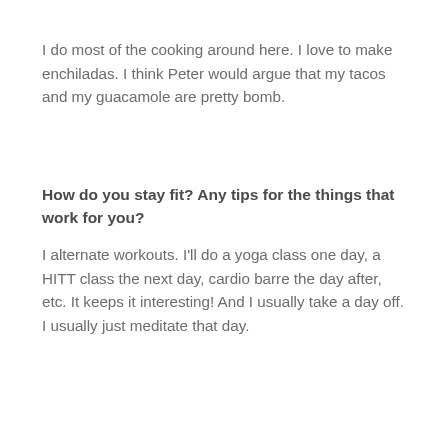I do most of the cooking around here. I love to make enchiladas. I think Peter would argue that my tacos and my guacamole are pretty bomb.
How do you stay fit? Any tips for the things that work for you?
I alternate workouts. I'll do a yoga class one day, a HITT class the next day, cardio barre the day after, etc. It keeps it interesting! And I usually take a day off. I usually just meditate that day.